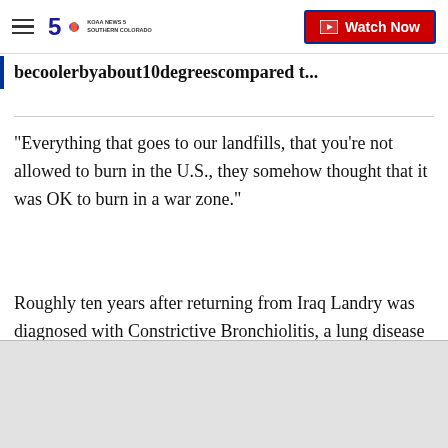5 KOAA NEWS 5 SOUTHERN COLORADO — Watch Now
becoolerbyabout10degreescompared t...
"Everything that goes to our landfills, that you're not allowed to burn in the U.S., they somehow thought that it was OK to burn in a war zone."
Roughly ten years after returning from Iraq Landry was diagnosed with Constrictive Bronchiolitis, a lung disease the doctors say will eventually kill her.
"That was really hard to take, at 40 something yea...